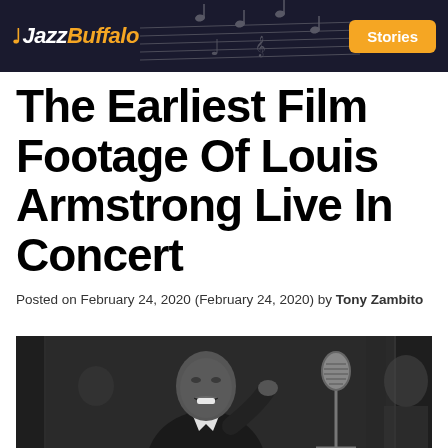Jazz Buffalo — Stories
The Earliest Film Footage Of Louis Armstrong Live In Concert
Posted on February 24, 2020 (February 24, 2020) by Tony Zambito
[Figure (photo): Black and white photograph of Louis Armstrong performing live in concert, wearing a tuxedo with bow tie, singing and gesturing, with a microphone stand visible in the background]